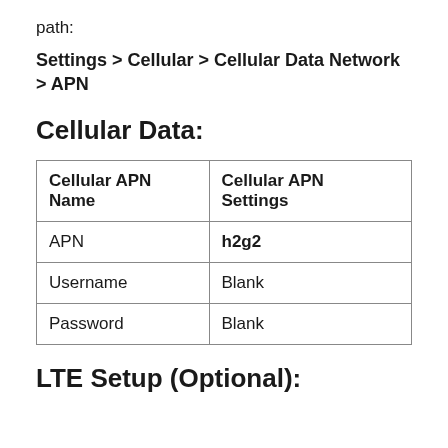path:
Settings > Cellular > Cellular Data Network > APN
Cellular Data:
| Cellular APN Name | Cellular APN Settings |
| --- | --- |
| APN | h2g2 |
| Username | Blank |
| Password | Blank |
LTE Setup (Optional):